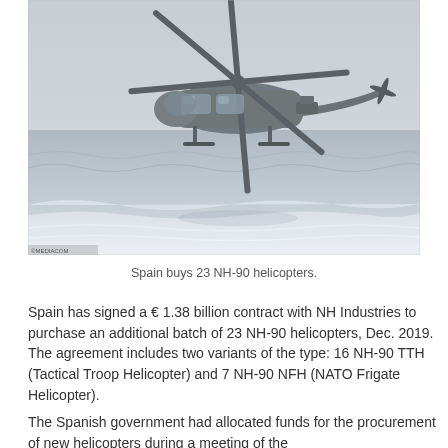[Figure (photo): Military helicopter (NH-90) flying low over a beach shoreline with ocean waves visible below]
Spain buys 23 NH-90 helicopters.
Spain has signed a € 1.38 billion contract with NH Industries to purchase an additional batch of 23 NH-90 helicopters, Dec. 2019. The agreement includes two variants of the type: 16 NH-90 TTH (Tactical Troop Helicopter) and 7 NH-90 NFH (NATO Frigate Helicopter).
The Spanish government had allocated funds for the procurement of new helicopters during a meeting of the